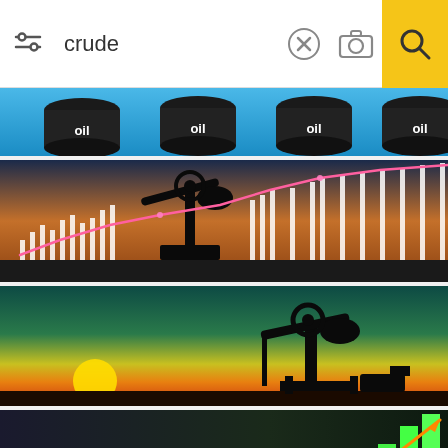[Figure (screenshot): Mobile web browser search bar showing search query 'crude' with filter icon on left, X and camera icons in middle, and yellow search button on right]
[Figure (photo): Row of black oil barrel drums with 'oil' text labels on blue background - partial view at top of image results]
[Figure (photo): Oil pump jack silhouetted against sunset sky with glowing white candlestick stock chart bars and rising pink trend line overlaid]
[Figure (photo): Oil pump jack silhouetted against dramatic sunset sky with teal gradient above and orange/yellow near horizon with sun visible]
[Figure (photo): Black oil barrel drums in foreground with green bar chart rising with orange upward-trending arrow line on dark background - crude oil price concept]